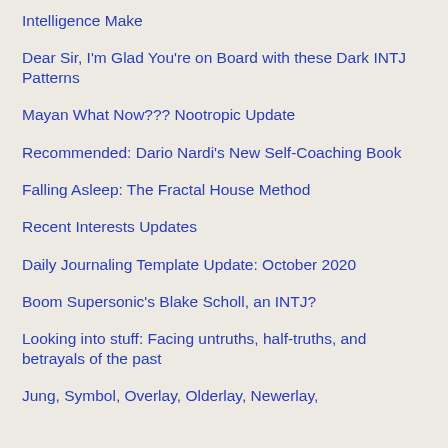Intelligence Make
Dear Sir, I'm Glad You're on Board with these Dark INTJ Patterns
Mayan What Now??? Nootropic Update
Recommended: Dario Nardi's New Self-Coaching Book
Falling Asleep: The Fractal House Method
Recent Interests Updates
Daily Journaling Template Update: October 2020
Boom Supersonic's Blake Scholl, an INTJ?
Looking into stuff: Facing untruths, half-truths, and betrayals of the past
Jung, Symbol, Overlay, Olderlay, Newerlay,